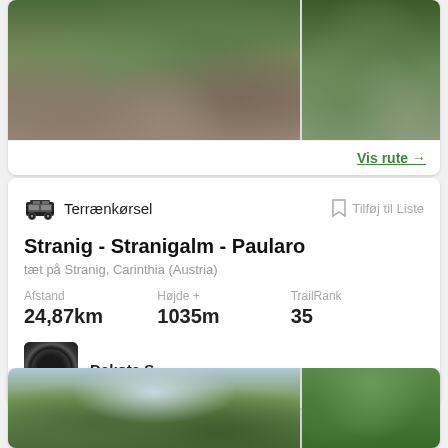[Figure (photo): Rocky mountain stream with boulders and green vegetation — two photos side by side]
Vis rute →
Terrænkørsel
Tilføj til Liste
Stranig - Stranigalm - Paularo
tæt på Stranig, Carinthia (Austria)
Afstand
24,87km
Højde +
1035m
TrailRank
35
Dakota S
[Figure (photo): Two outdoor trail photos at bottom — forest and trees]